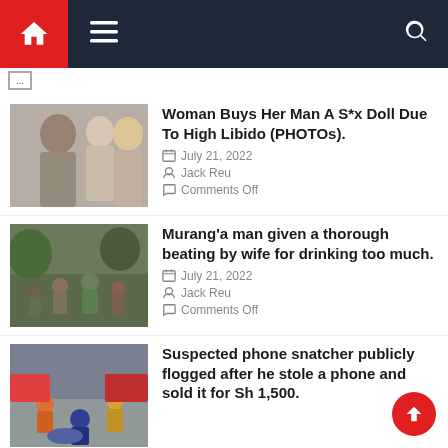Navigation bar with home, menu, and search icons
[Figure (screenshot): Thumbnail of couple with doll]
Woman Buys Her Man A S*x Doll Due To High Libido (PHOTOs).
July 21, 2022
Jack Reu
Comments Off
[Figure (screenshot): Thumbnail of crowd fighting scene]
Murang'a man given a thorough beating by wife for drinking too much.
July 21, 2022
Jack Reu
Comments Off
[Figure (screenshot): Thumbnail of crowd/street scene]
Suspected phone snatcher publicly flogged after he stole a phone and sold it for Sh 1,500.